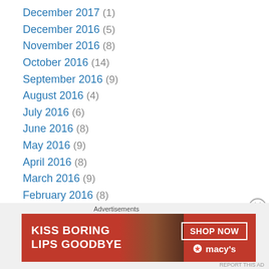December 2017 (1)
December 2016 (5)
November 2016 (8)
October 2016 (14)
September 2016 (9)
August 2016 (4)
July 2016 (6)
June 2016 (8)
May 2016 (9)
April 2016 (8)
March 2016 (9)
February 2016 (8)
January 2016 (8)
December 2015 (3)
November 2015 (4)
October 2015 (3)
Advertisements
[Figure (illustration): Macy's advertisement banner: 'KISS BORING LIPS GOODBYE' with SHOP NOW button and Macy's star logo, featuring a woman's face with red lips]